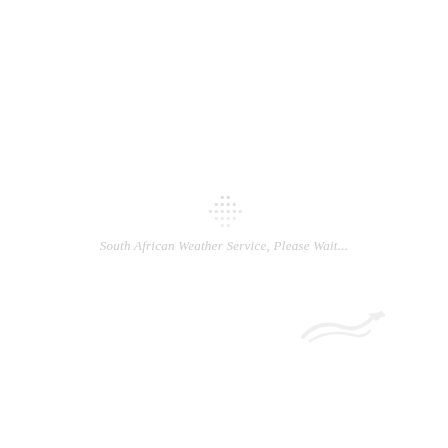[Figure (other): South African Weather Service loading screen with spinner dots and italic loading text reading 'South African Weather Service, Please Wait...' and a faint logo/bird graphic at bottom right]